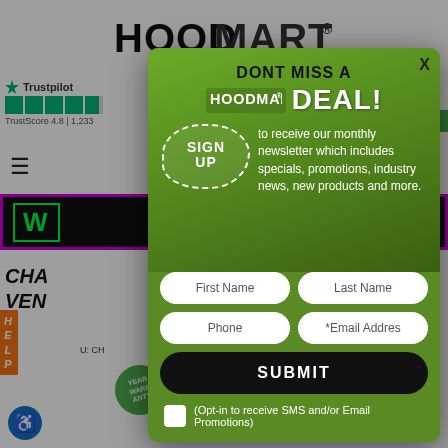[Figure (screenshot): HoodMart website background showing logo, Trustpilot rating, navigation bar, green banner with neon text, and product listing]
[Figure (screenshot): HoodMart newsletter signup modal popup with green background. Headline: DONT MISS A HOODMART DEAL! Sign up section with newsletter description. Form fields: First Name, Last Name, Phone, Email Address. Submit button. Opt-in checkbox for SMS/Email promotions.]